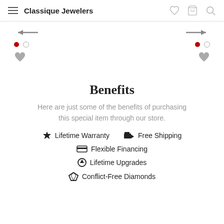Classique Jewelers
[Figure (screenshot): Carousel navigation area with left and right arrows, radio dot indicators (filled red and empty), and heart/wishlist icons in two columns]
Benefits
Here are just some of the benefits of purchasing this special item through our store.
Lifetime Warranty
Free Shipping
Flexible Financing
Lifetime Upgrades
Conflict-Free Diamonds